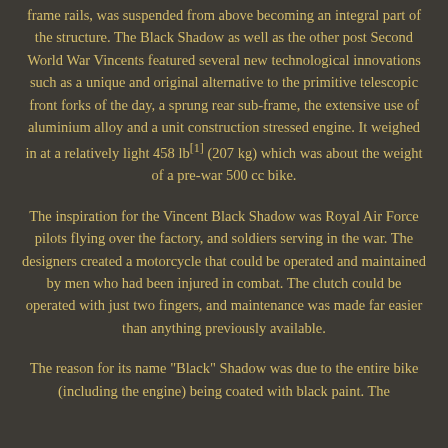frame rails, was suspended from above becoming an integral part of the structure. The Black Shadow as well as the other post Second World War Vincents featured several new technological innovations such as a unique and original alternative to the primitive telescopic front forks of the day, a sprung rear sub-frame, the extensive use of aluminium alloy and a unit construction stressed engine. It weighed in at a relatively light 458 lb[1] (207 kg) which was about the weight of a pre-war 500 cc bike.
The inspiration for the Vincent Black Shadow was Royal Air Force pilots flying over the factory, and soldiers serving in the war. The designers created a motorcycle that could be operated and maintained by men who had been injured in combat. The clutch could be operated with just two fingers, and maintenance was made far easier than anything previously available.
The reason for its name "Black" Shadow was due to the entire bike (including the engine) being coated with black paint. The